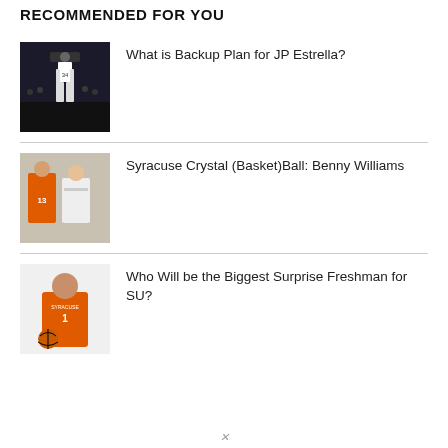RECOMMENDED FOR YOU
What is Backup Plan for JP Estrella?
Syracuse Crystal (Basket)Ball: Benny Williams
Who Will be the Biggest Surprise Freshman for SU?